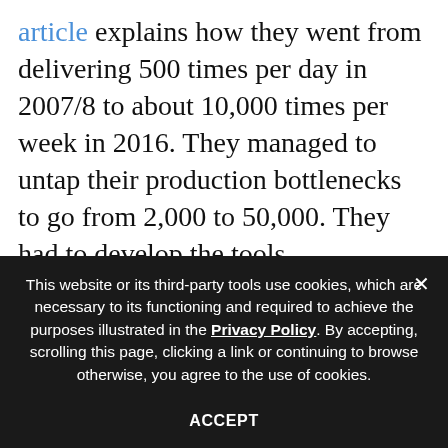article explains how they went from delivering 500 times per day in 2007/8 to about 10,000 times per week in 2016. They managed to untap their production bottlenecks to go from 2,000 to 50,000. They had to develop the tools, infrastructure, and systems that enabled them to serve customers with new lines of code continuously. There is also another side to delivering software continuously: It helps us learn faster. Which company do you think can learn faster, one delivering once per quarter or one
This website or its third-party tools use cookies, which are necessary to its functioning and required to achieve the purposes illustrated in the Privacy Policy. By accepting, scrolling this page, clicking a link or continuing to browse otherwise, you agree to the use of cookies.
ACCEPT